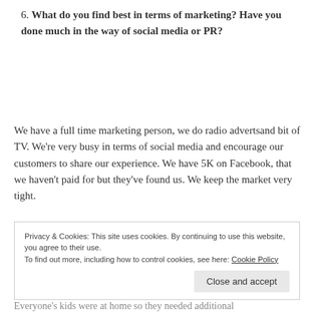6. What do you find best in terms of marketing? Have you done much in the way of social media or PR?
We have a full time marketing person, we do radio advertsand bit of TV. We're very busy in terms of social media and encourage our customers to share our experience. We have 5K on Facebook, that we haven't paid for but they've found us. We keep the market very tight.
Privacy & Cookies: This site uses cookies. By continuing to use this website, you agree to their use.
To find out more, including how to control cookies, see here: Cookie Policy
Close and accept
Everyone's kids were at home so they needed additional